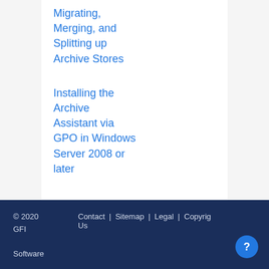Migrating, Merging, and Splitting up Archive Stores
Installing the Archive Assistant via GPO in Windows Server 2008 or later
© 2020 GFI Software   Contact Us  |  Sitemap  |  Legal  |  Copyrig…